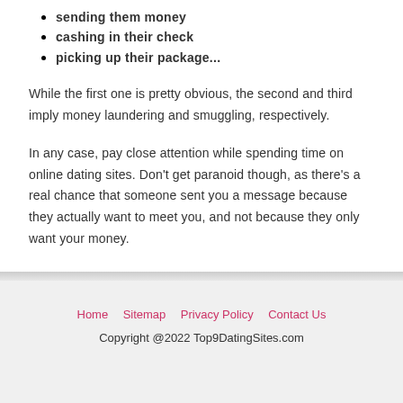sending them money
cashing in their check
picking up their package...
While the first one is pretty obvious, the second and third imply money laundering and smuggling, respectively.
In any case, pay close attention while spending time on online dating sites. Don’t get paranoid though, as there’s a real chance that someone sent you a message because they actually want to meet you, and not because they only want your money.
Home  Sitemap  Privacy Policy  Contact Us
Copyright @2022 Top9DatingSites.com